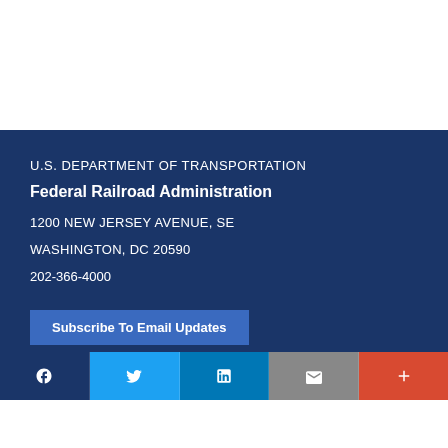U.S. DEPARTMENT OF TRANSPORTATION
Federal Railroad Administration
1200 NEW JERSEY AVENUE, SE
WASHINGTON, DC 20590
202-366-4000
Subscribe To Email Updates